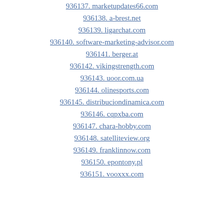936137. marketupdates66.com
936138. a-brest.net
936139. ligarchat.com
936140. software-marketing-advisor.com
936141. berger.at
936142. vikingstrength.com
936143. uoor.com.ua
936144. olinesports.com
936145. distribuciondinamica.com
936146. cqpxba.com
936147. chara-hobby.com
936148. satelliteview.org
936149. franklinnow.com
936150. epontony.pl
936151. vooxxx.com